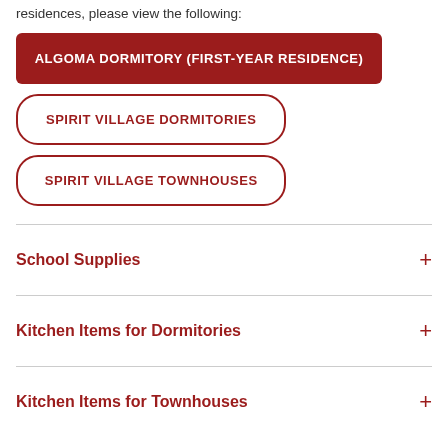residences, please view the following:
ALGOMA DORMITORY (FIRST-YEAR RESIDENCE)
SPIRIT VILLAGE DORMITORIES
SPIRIT VILLAGE TOWNHOUSES
School Supplies
Kitchen Items for Dormitories
Kitchen Items for Townhouses